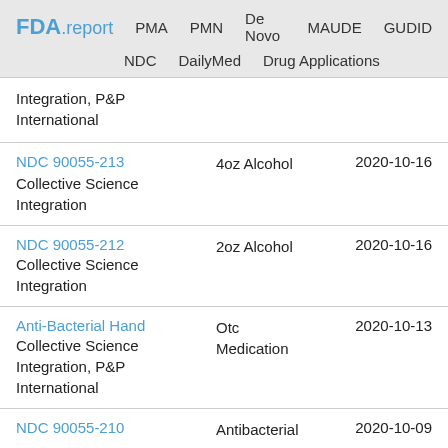FDA.report  PMA  PMN  De Novo  MAUDE  GUDID  NDC  DailyMed  Drug Applications
Integration, P&P International
| Product | Type | Date |
| --- | --- | --- |
| NDC 90055-213
Collective Science Integration | 4oz Alcohol | 2020-10-16 |
| NDC 90055-212
Collective Science Integration | 2oz Alcohol | 2020-10-16 |
| Anti-Bacterial Hand
Collective Science Integration, P&P International | Otc Medication | 2020-10-13 |
| NDC 90055-210 | Antibacterial | 2020-10-09 |